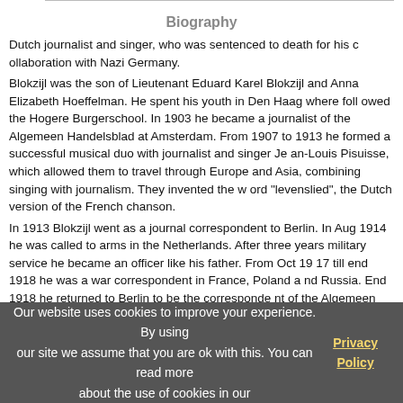Biography
Dutch journalist and singer, who was sentenced to death for his collaboration with Nazi Germany.
Blokzijl was the son of Lieutenant Eduard Karel Blokzijl and Anna Elizabeth Hoeffelman. He spent his youth in Den Haag where followed the Hogere Burgerschool. In 1903 he became a journalist of the Algemeen Handelsblad at Amsterdam. From 1907 to 1913 he formed a successful musical duo with journalist and singer Jean-Louis Pisuisse, which allowed them to travel through Europe and Asia, combining singing with journalism. They invented the word "levenslied", the Dutch version of the French chanson.
In 1913 Blokzijl went as a journal correspondent to Berlin. In Aug 1914 he was called to arms in the Netherlands. After three years military service he became an officer like his father. From Oct 1917 till end 1918 he was a war correspondent in France, Poland and Russia. End 1918 he returned to Berlin to be the correspondent of the Algemeen Handelsblad, a post he would held till the Ger
Our website uses cookies to improve your experience. By using our site we assume that you are ok with this. You can read more about the use of cookies in our Privacy Policy